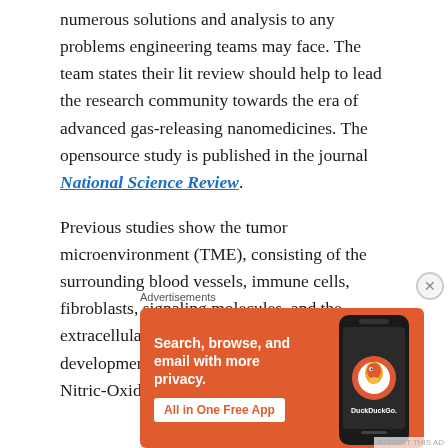numerous solutions and analysis to any problems engineering teams may face. The team states their lit review should help to lead the research community towards the era of advanced gas-releasing nanomedicines. The opensource study is published in the journal National Science Review.
Previous studies show the tumor microenvironment (TME), consisting of the surrounding blood vessels, immune cells, fibroblasts, signaling molecules, and the extracellular matrix, is crucial to tumor development and metastasis. Gases such as Nitric-Oxide (NO), Carbon Monoxide (CO), and Hydrogen Sulfide (H2S), h...
[Figure (other): DuckDuckGo advertisement banner with orange background. Text reads: Search, browse, and email with more privacy. All in One Free App. Shows a smartphone with the DuckDuckGo app icon.]